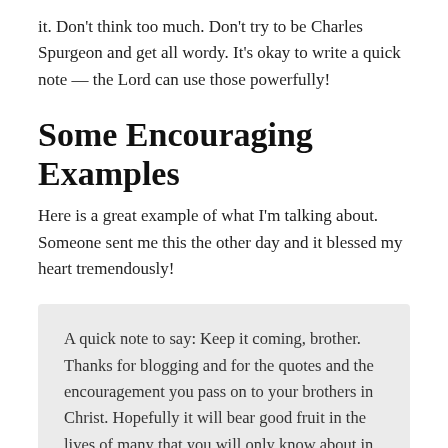it. Don't think too much. Don't try to be Charles Spurgeon and get all wordy. It's okay to write a quick note — the Lord can use those powerfully!
Some Encouraging Examples
Here is a great example of what I'm talking about. Someone sent me this the other day and it blessed my heart tremendously!
A quick note to say: Keep it coming, brother. Thanks for blogging and for the quotes and the encouragement you pass on to your brothers in Christ. Hopefully it will bear good fruit in the lives of many that you will only know about in the day of Christ.